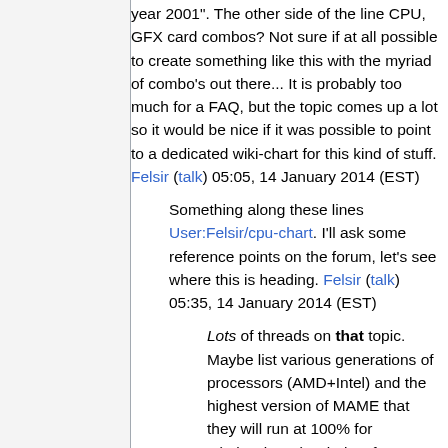year 2001". The other side of the line CPU, GFX card combos? Not sure if at all possible to create something like this with the myriad of combo's out there... It is probably too much for a FAQ, but the topic comes up a lot so it would be nice if it was possible to point to a dedicated wiki-chart for this kind of stuff. Felsir (talk) 05:05, 14 January 2014 (EST)
Something along these lines User:Felsir/cpu-chart. I'll ask some reference points on the forum, let's see where this is heading. Felsir (talk) 05:35, 14 January 2014 (EST)
Lots of threads on that topic. Maybe list various generations of processors (AMD+Intel) and the highest version of MAME that they will run at 100% for 1.)Classics 2.)Majority of games